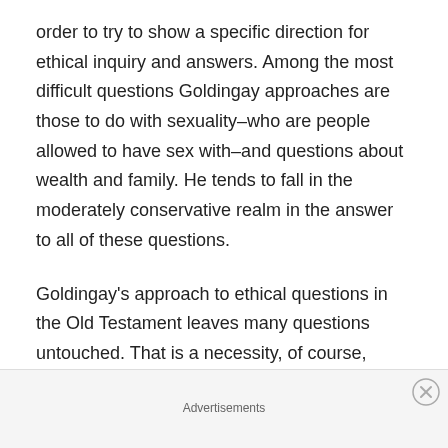order to try to show a specific direction for ethical inquiry and answers. Among the most difficult questions Goldingay approaches are those to do with sexuality–who are people allowed to have sex with–and questions about wealth and family. He tends to fall in the moderately conservative realm in the answer to all of these questions.
Goldingay's approach to ethical questions in the Old Testament leaves many questions untouched. That is a necessity, of course, because only a massive tome could truly address many of the topics related to ethics in the Old Testament in any meaningful way. Nevertheless, readers may wonder about how Goldingay specifically
Advertisements